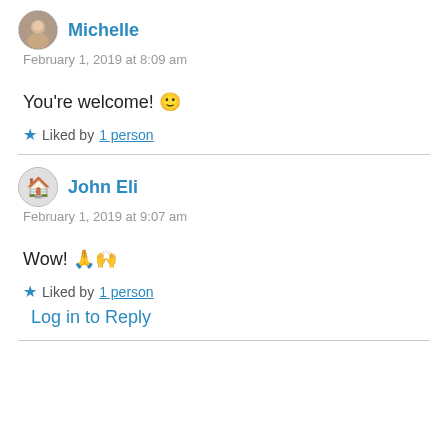Michelle
February 1, 2019 at 8:09 am
You're welcome! 🙂
★ Liked by 1 person
John Eli
February 1, 2019 at 9:07 am
Wow! 🙏🙌
★ Liked by 1 person
Log in to Reply